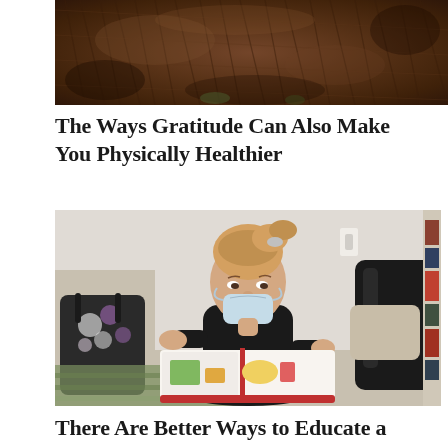[Figure (photo): Close-up of dark brown bear fur texture]
The Ways Gratitude Can Also Make You Physically Healthier
[Figure (photo): Young blonde girl wearing a face mask sitting on the floor reading a large picture book, with a black backpack and bookshelf visible in the background]
There Are Better Ways to Educate a Child